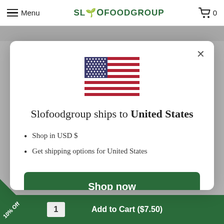Menu | SLOFOODGROUP | 0
[Figure (screenshot): US flag icon displayed in modal dialog]
Slofoodgroup ships to United States
Shop in USD $
Get shipping options for United States
Shop now
Change shipping country
10% Off | 1 | Add to Cart ($7.50)